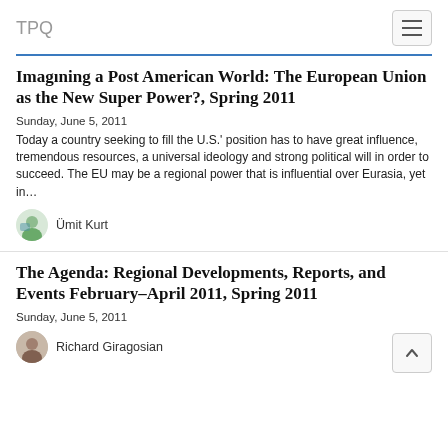TPQ
Imagining a Post American World: The European Union as the New Super Power?, Spring 2011
Sunday, June 5, 2011
Today a country seeking to fill the U.S.' position has to have great influence, tremendous resources, a universal ideology and strong political will in order to succeed. The EU may be a regional power that is influential over Eurasia, yet in...
Ümit Kurt
The Agenda: Regional Developments, Reports, and Events February–April 2011, Spring 2011
Sunday, June 5, 2011
Richard Giragosian